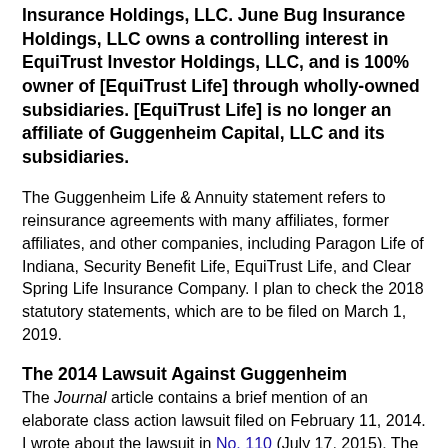Insurance Holdings, LLC. June Bug Insurance Holdings, LLC owns a controlling interest in EquiTrust Investor Holdings, LLC, and is 100% owner of [EquiTrust Life] through wholly-owned subsidiaries. [EquiTrust Life] is no longer an affiliate of Guggenheim Capital, LLC and its subsidiaries.
The Guggenheim Life & Annuity statement refers to reinsurance agreements with many affiliates, former affiliates, and other companies, including Paragon Life of Indiana, Security Benefit Life, EquiTrust Life, and Clear Spring Life Insurance Company. I plan to check the 2018 statutory statements, which are to be filed on March 1, 2019.
The 2014 Lawsuit Against Guggenheim
The Journal article contains a brief mention of an elaborate class action lawsuit filed on February 11, 2014. I wrote about the lawsuit in No. 110 (July 17, 2015). The lead plaintiffs were Clarice Whitmore, an Arkansas resident who bought an annuity in 2013 from Security Benefit Life, and Helga Marie Schulzki, a California resident who bought an annuity in